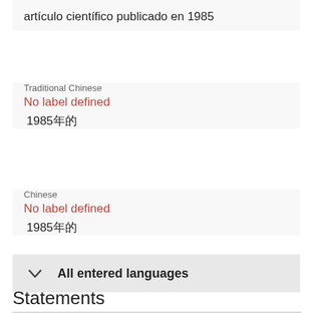artículo científico publicado en 1985
Traditional Chinese
No label defined
1985年的
Chinese
No label defined
1985年的
All entered languages
Statements